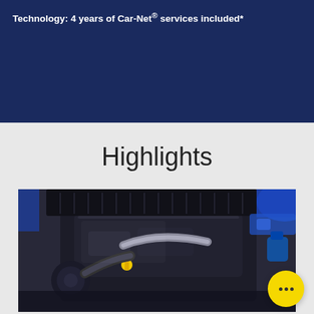Technology: 4 years of Car-Net® services included*
Highlights
[Figure (photo): Close-up photograph of a car engine bay showing a turbocharged engine with various components including hoses, a yellow oil dipstick handle, and blue car bodywork visible at the edges.]